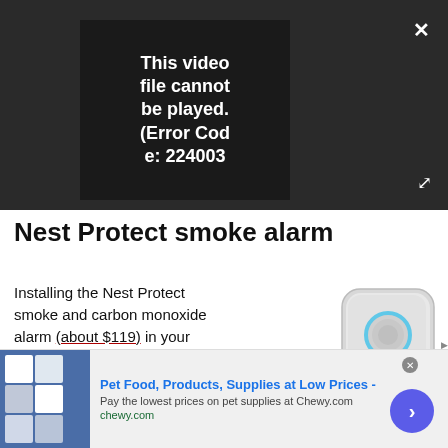[Figure (screenshot): Video player showing error message 'This video file cannot be played. (Error Code: 224003)' on dark background with PLAY SOUND button, close X button, and expand/fullscreen button.]
Nest Protect smoke alarm
[Figure (photo): Photo of the Nest Protect smoke and carbon monoxide alarm — a rounded square white device with a blue ring on the front.]
Installing the Nest Protect smoke and carbon monoxide alarm (about $119) in your house is a fantastic way to alleviate worry when you're both at home and away. Control your Nest Protect from your Windows 10 PC, or use it with your Harman Kardon Invoke. Audible warnings can be heard when
[Figure (screenshot): Advertisement banner for Chewy.com: 'Pet Food, Products, Supplies at Low Prices - Pay the lowest prices on pet supplies at Chewy.com' with pet product images and a blue arrow button.]